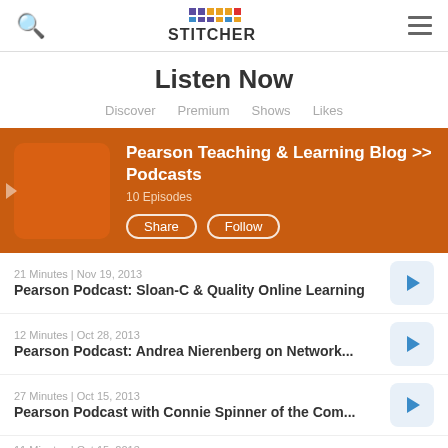Stitcher — Listen Now
Listen Now
Discover | Premium | Shows | Likes
[Figure (screenshot): Pearson Teaching & Learning Blog >> Podcasts banner with orange background, thumbnail image, 10 Episodes label, Share and Follow buttons]
21 Minutes | Nov 19, 2013
Pearson Podcast: Sloan-C & Quality Online Learning
12 Minutes | Oct 28, 2013
Pearson Podcast: Andrea Nierenberg on Network...
27 Minutes | Oct 15, 2013
Pearson Podcast with Connie Spinner of the Com...
11 Minutes | Oct 15, 2013